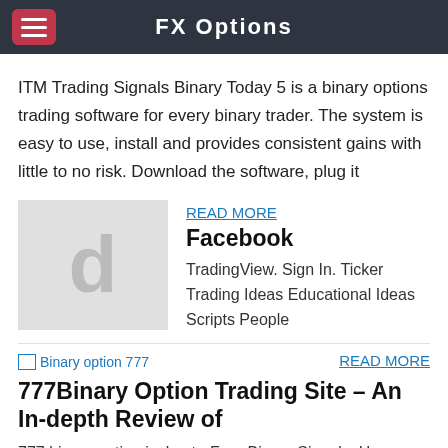FX Options
ITM Trading Signals Binary Today 5 is a binary options trading software for every binary trader. The system is easy to use, install and provides consistent gains with little to no risk. Download the software, plug it
[Figure (illustration): Gray placeholder image with a large letter 'd' in the center]
READ MORE
Facebook
TradingView. Sign In. Ticker Trading Ideas Educational Ideas Scripts People
[Figure (illustration): Broken image icon labeled 'Binary option 777']
READ MORE
777Binary Option Trading Site – An In-depth Review of
777 binary option jackpot - Free Binary Signals. Have caused. Learn free download exposed binary options trading magazine min binary